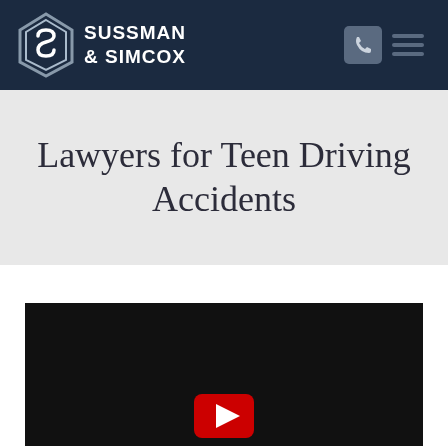SUSSMAN & SIMCOX
Lawyers for Teen Driving Accidents
[Figure (screenshot): YouTube video embed thumbnail with black background and red play button, partially visible]